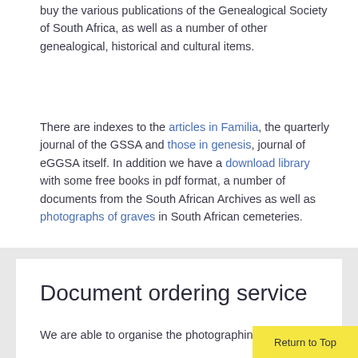buy the various publications of the Genealogical Society of South Africa, as well as a number of other genealogical, historical and cultural items.
There are indexes to the articles in Familia, the quarterly journal of the GSSA and those in genesis, journal of eGGSA itself. In addition we have a download library with some free books in pdf format, a number of documents from the South African Archives as well as photographs of graves in South African cemeteries.
Document ordering service
We are able to organise the photographing of